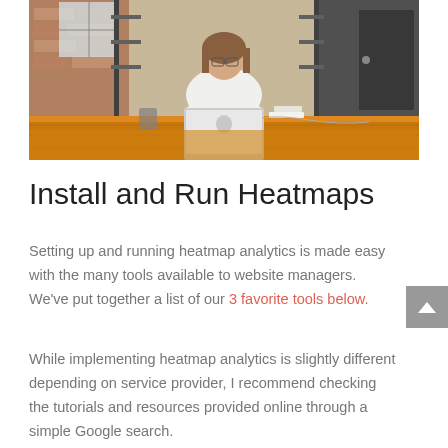[Figure (photo): Woman sitting at a long wooden desk working on a laptop in an office or co-working space with brick walls and large windows.]
Install and Run Heatmaps
Setting up and running heatmap analytics is made easy with the many tools available to website managers. We've put together a list of our 3 favorite tools below.
While implementing heatmap analytics is slightly different depending on service provider, I recommend checking the tutorials and resources provided online through a simple Google search.